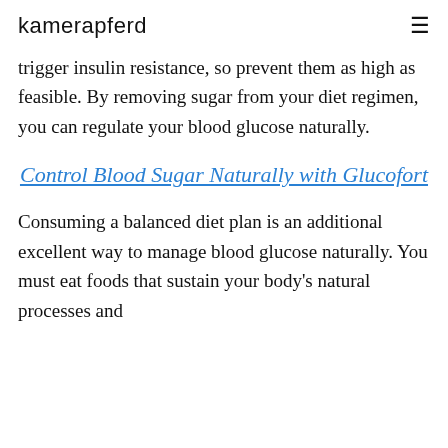kamerapferd
trigger insulin resistance, so prevent them as high as feasible. By removing sugar from your diet regimen, you can regulate your blood glucose naturally.
Control Blood Sugar Naturally with Glucofort
Consuming a balanced diet plan is an additional excellent way to manage blood glucose naturally. You must eat foods that sustain your body's natural processes and